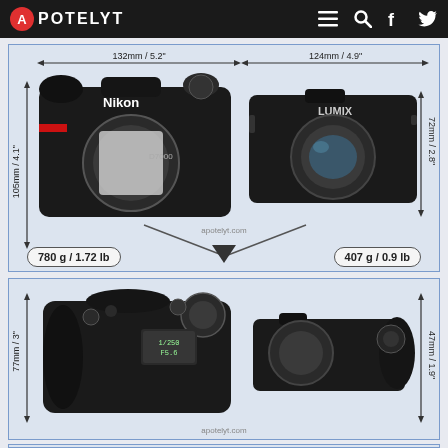APOTELYT
[Figure (infographic): Front view comparison of Nikon D7000 (132mm/5.2" wide, 105mm/4.1" tall, 780g/1.72lb) vs Panasonic Lumix (124mm/4.9" wide, 72mm/2.8" tall, 407g/0.9lb) with dimension arrows and balance scale triangle]
[Figure (infographic): Top view comparison of Nikon D7000 (77mm/3" depth) vs Panasonic Lumix (47mm/1.9" depth)]
[Figure (infographic): Partial bottom/front view of camera comparison (cropped)]